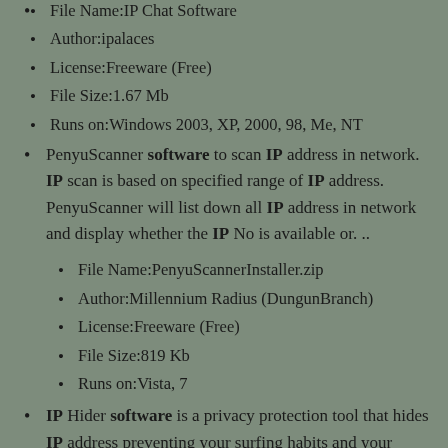File Name:IP Chat Software
Author:ipalaces
License:Freeware (Free)
File Size:1.67 Mb
Runs on:Windows 2003, XP, 2000, 98, Me, NT
PenyuScanner software to scan IP address in network. IP scan is based on specified range of IP address. PenyuScanner will list down all IP address in network and display whether the IP No is available or. ..
File Name:PenyuScannerInstaller.zip
Author:Millennium Radius (DungunBranch)
License:Freeware (Free)
File Size:819 Kb
Runs on:Vista, 7
IP Hider software is a privacy protection tool that hides IP address preventing your surfing habits and your browsing activity form being tracked by websites or Internet Service